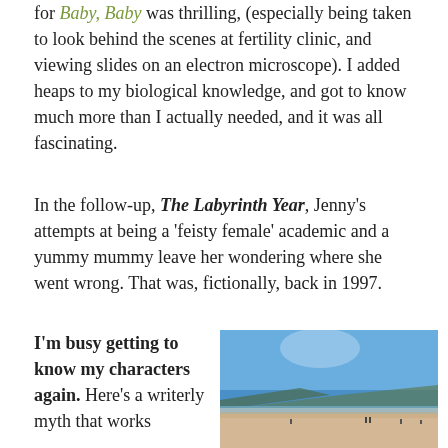for Baby, Baby was thrilling, (especially being taken to look behind the scenes at fertility clinic, and viewing slides on an electron microscope). I added heaps to my biological knowledge, and got to know much more than I actually needed, and it was all fascinating.
In the follow-up, The Labyrinth Year, Jenny's attempts at being a 'feisty female' academic and a yummy mummy leave her wondering where she went wrong. That was, fictionally, back in 1997.
I'm busy getting to know my characters again. Here's a writerly myth that works
[Figure (photo): A beach scene with blue sky, sandy shore, distant headland, and small figures of people walking on the beach.]